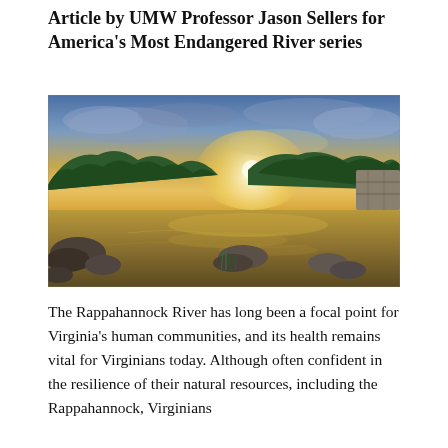Article by UMW Professor Jason Sellers for America's Most Endangered River series
[Figure (photo): Landscape photograph of the Rappahannock River at sunset, showing rocky riverbanks, calm water reflecting golden light, green forested hills on both sides, and a dramatic sky with clouds lit by the setting sun.]
The Rappahannock River has long been a focal point for Virginia's human communities, and its health remains vital for Virginians today. Although often confident in the resilience of their natural resources, including the Rappahannock, Virginians